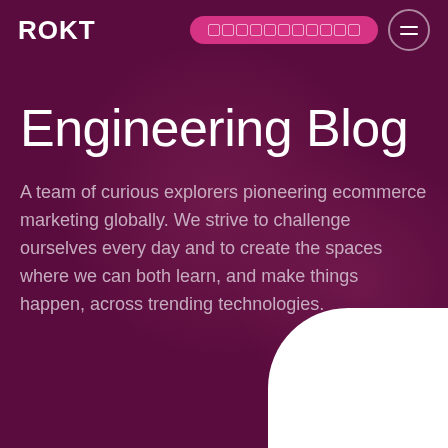ROKT
Engineering Blog
A team of curious explorers pioneering ecommerce marketing globally. We strive to challenge ourselves every day and to create the spaces where we can both learn, and make things happen, across trending technologies.